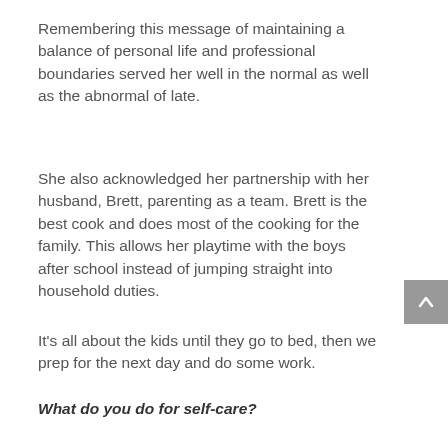Remembering this message of maintaining a balance of personal life and professional boundaries served her well in the normal as well as the abnormal of late.
She also acknowledged her partnership with her husband, Brett, parenting as a team. Brett is the best cook and does most of the cooking for the family. This allows her playtime with the boys after school instead of jumping straight into household duties.
It's all about the kids until they go to bed, then we prep for the next day and do some work.
What do you do for self-care?